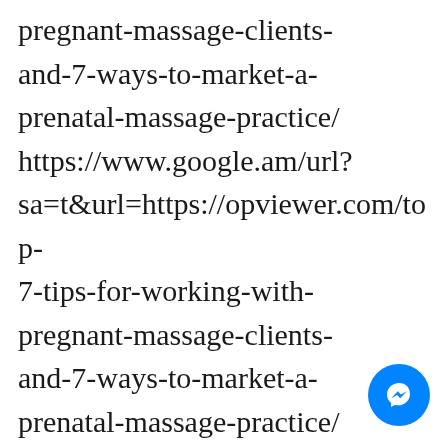pregnant-massage-clients-and-7-ways-to-market-a-prenatal-massage-practice/ https://www.google.am/url?sa=t&url=https://opviewer.com/top-7-tips-for-working-with-pregnant-massage-clients-and-7-ways-to-market-a-prenatal-massage-practice/ https://www.google.al/url?sa=t&url=https://opviewer.com/top-7-tips-for-working-with-pregnant-massage-clients-
[Figure (other): Facebook Messenger chat button (blue circle with white lightning bolt/messenger icon)]